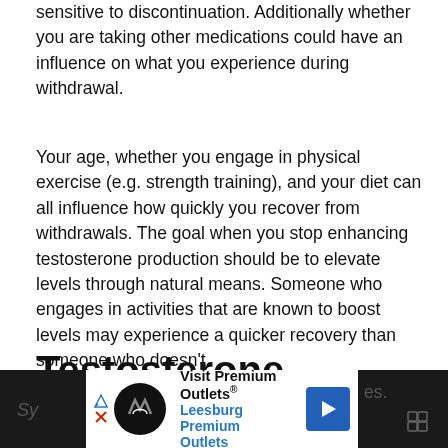sensitive to discontinuation. Additionally whether you are taking other medications could have an influence on what you experience during withdrawal.
Your age, whether you engage in physical exercise (e.g. strength training), and your diet can all influence how quickly you recover from withdrawals. The goal when you stop enhancing testosterone production should be to elevate levels through natural means. Someone who engages in activities that are known to boost levels may experience a quicker recovery than someone who doesn't.
Testosterone Withdrawal
Sy...es.
[Figure (infographic): Advertisement banner for Visit Premium Outlets - Leesburg Premium Outlets with logo icon and directional arrow button]